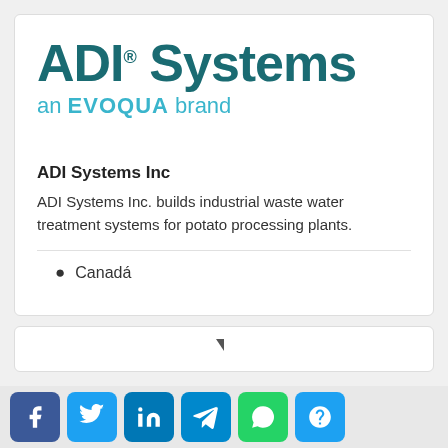[Figure (logo): ADI Systems logo with registered trademark symbol, subtitle 'an EVOQUA brand' in teal/cyan color]
ADI Systems Inc
ADI Systems Inc. builds industrial waste water treatment systems for potato processing plants.
Canadá
[Figure (screenshot): Partial card with arrow icon visible at bottom]
[Figure (infographic): Social sharing bar with Facebook, Twitter, LinkedIn, Telegram, WhatsApp, and help/question mark buttons]